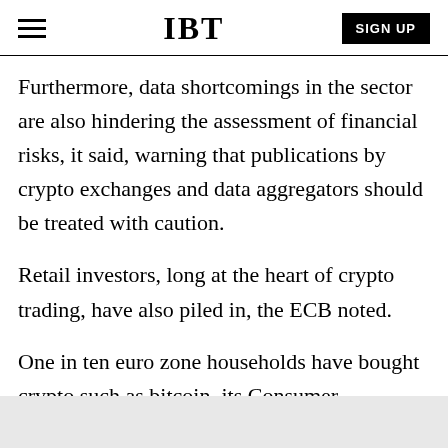IBT | SIGN UP
Furthermore, data shortcomings in the sector are also hindering the assessment of financial risks, it said, warning that publications by crypto exchanges and data aggregators should be treated with caution.
Retail investors, long at the heart of crypto trading, have also piled in, the ECB noted.
One in ten euro zone households have bought crypto such as bitcoin, its Consumer Expectation Survey, which ran the poll in six countries.